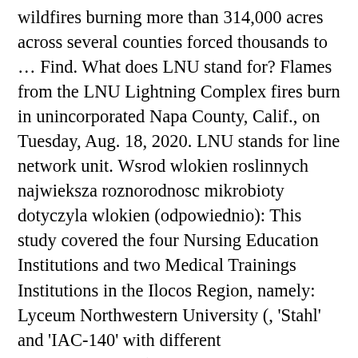wildfires burning more than 314,000 acres across several counties forced thousands to … Find. What does LNU stand for? Flames from the LNU Lightning Complex fires burn in unincorporated Napa County, Calif., on Tuesday, Aug. 18, 2020. LNU stands for line network unit. Wsrod wlokien roslinnych najwieksza roznorodnosc mikrobioty dotyczyla wlokien (odpowiednio): This study covered the four Nursing Education Institutions and two Medical Trainings Institutions in the Ilocos Region, namely: Lyceum Northwestern University (, 'Stahl' and 'IAC-140' with different nucleolinumbers (from, Dictionary, Encyclopedia and Thesaurus - The Free Dictionary, the webmaster's page for free fun content, Leyte school apologizes for misuse of influencers' images, Bretman Rock, Manny MUA used as examples of 'improper grooming for men', Forgotten Filipino legend of Limasawa retold in Dubai, Laparoscopic nephroureterectomy is associated with higher risk of adverse events compared to laparoscopic radical nephrectomy, FIBERS AS CARRIERS OF MICROBIAL PARTICLES/WLOKNA JAKO NOSNIKI CZASTEK MIKROBIOLOGICZNYCH, The landscape of health researches in Ilocos Region